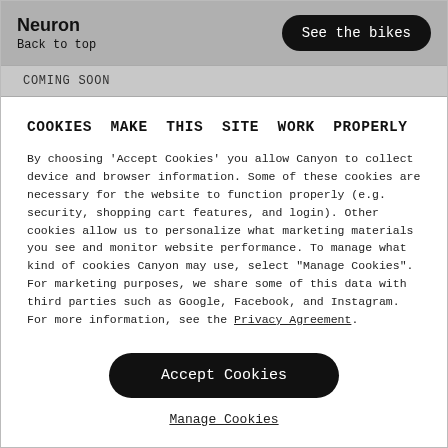Neuron
Back to top
See the bikes
COMING SOON
COOKIES MAKE THIS SITE WORK PROPERLY
By choosing 'Accept Cookies' you allow Canyon to collect device and browser information. Some of these cookies are necessary for the website to function properly (e.g. security, shopping cart features, and login). Other cookies allow us to personalize what marketing materials you see and monitor website performance. To manage what kind of cookies Canyon may use, select "Manage Cookies". For marketing purposes, we share some of this data with third parties such as Google, Facebook, and Instagram. For more information, see the Privacy Agreement.
Accept Cookies
Manage Cookies